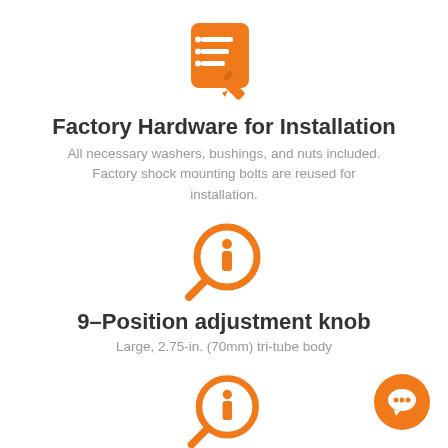[Figure (illustration): Orange icon of a checklist/notepad with a pencil, representing factory hardware/installation documentation]
Factory Hardware for Installation
All necessary washers, bushings, and nuts included. Factory shock mounting bolts are reused for installation.
[Figure (illustration): Orange magnifying glass icon with an 'i' information symbol in the lens, representing 9-position adjustment knob feature]
9–Position adjustment knob
Large, 2.75-in. (70mm) tri-tube body
[Figure (illustration): Orange magnifying glass icon with an 'i' information symbol in the lens, representing low-friction seal feature]
Low–Friction, self–lubricating seal
Limited Lifetime Warranty and 90-Day Free Ride